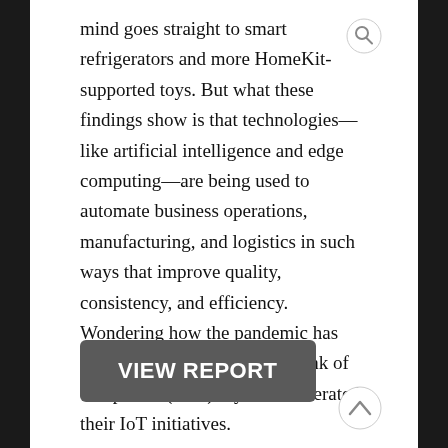mind goes straight to smart refrigerators and more HomeKit-supported toys. But what these findings show is that technologies—like artificial intelligence and edge computing—are being used to automate business operations, manufacturing, and logistics in such ways that improve quality, consistency, and efficiency. Wondering how the pandemic has impacted the IoT? A large chunk of companies (44%) say it's accelerated their IoT initiatives.
VIEW REPORT